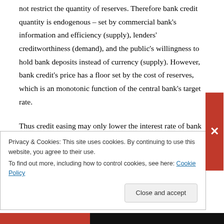not restrict the quantity of reserves. Therefore bank credit quantity is endogenous – set by commercial bank's information and efficiency (supply), lenders' creditworthiness (demand), and the public's willingness to hold bank deposits instead of currency (supply). However, bank credit's price has a floor set by the cost of reserves, which is an monotonic function of the central bank's target rate.
Thus credit easing may only lower the interest rate of bank credit without stimulating borrowing.
Privacy & Cookies: This site uses cookies. By continuing to use this website, you agree to their use.
To find out more, including how to control cookies, see here: Cookie Policy